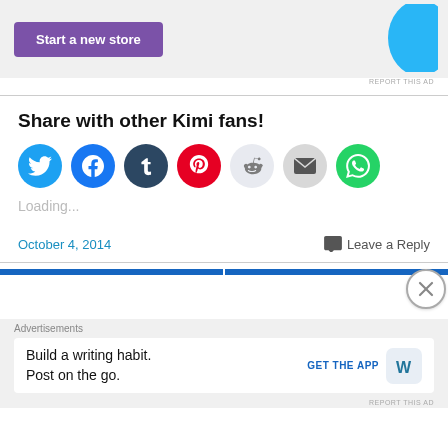[Figure (other): Ad banner with purple 'Start a new store' button and cyan shape on the right]
REPORT THIS AD
Share with other Kimi fans!
[Figure (infographic): Row of social share buttons: Twitter, Facebook, Tumblr, Pinterest, Reddit, Email, WhatsApp]
Loading...
October 4, 2014
Leave a Reply
[Figure (infographic): Two blue horizontal bars with a close (X) button overlay]
Advertisements
[Figure (other): Ad: 'Build a writing habit. Post on the go.' with GET THE APP button and WordPress logo]
REPORT THIS AD